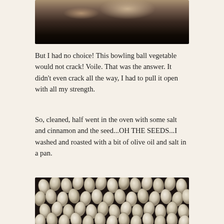[Figure (photo): Close-up photo of a dark vegetable or squash being cracked open, showing dark interior and some orange/golden flesh at top, on a gray surface]
But I had no choice!  This bowling ball vegetable would not crack!  Voile.  That was the answer.  It didn't even crack all the way, I had to pull it open with all my strength.
So, cleaned, half went in the oven with some salt and cinnamon and the seed...OH THE SEEDS...I washed and roasted with a bit of olive oil and salt in a pan.
[Figure (photo): Close-up photo of many white/cream colored seeds spread across a dark pan, the seeds are oval/teardrop shaped and appear wet or coated in oil]